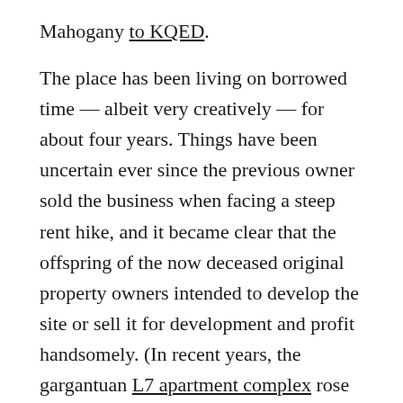Mahogany to KQED.
The place has been living on borrowed time — albeit very creatively — for about four years. Things have been uncertain ever since the previous owner sold the business when facing a steep rent hike, and it became clear that the offspring of the now deceased original property owners intended to develop the site or sell it for development and profit handsomely. (In recent years, the gargantuan L7 apartment complex rose next door to Stud's tiny edifice on what had for decades been a surface parking lot for Muni and Golden Gate Transit buses, and the image